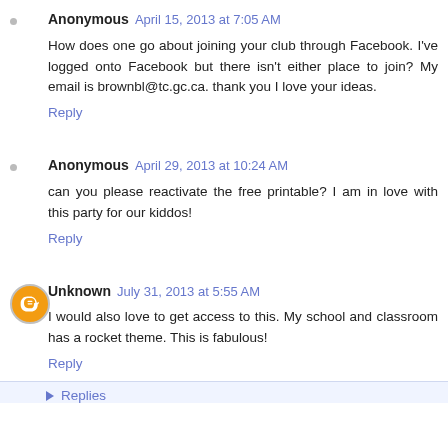Anonymous April 15, 2013 at 7:05 AM
How does one go about joining your club through Facebook. I've logged onto Facebook but there isn't either place to join? My email is brownbl@tc.gc.ca. thank you I love your ideas.
Reply
Anonymous April 29, 2013 at 10:24 AM
can you please reactivate the free printable? I am in love with this party for our kiddos!
Reply
Unknown July 31, 2013 at 5:55 AM
I would also love to get access to this. My school and classroom has a rocket theme. This is fabulous!
Reply
Replies